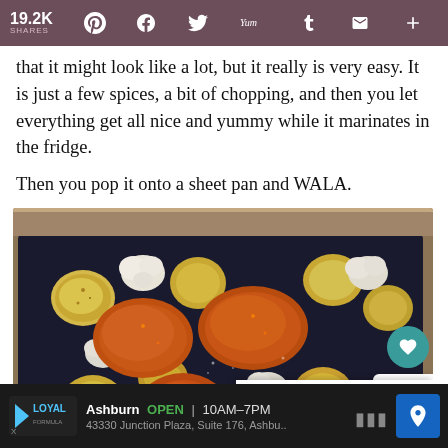19.2K SHARES | Share icons: Pinterest, Facebook, Twitter, Yummly, Tumblr, Email, More
that it might look like a lot, but it really is very easy. It is just a few spices, a bit of chopping, and then you let everything get all nice and yummy while it marinates in the fridge.
Then you pop it onto a sheet pan and WALA.
[Figure (photo): A black sheet pan filled with roasted chicken pieces, halved baby potatoes, and cauliflower florets, seasoned with spices. A teal heart icon and share count (5) overlay the right side. A 'WHAT'S NEXT → Copycat PF Chang's...' panel appears at the bottom right.]
WHAT'S NEXT → Copycat PF Chang's...
Ashburn  OPEN  10AM–7PM  43330 Junction Plaza, Suite 176, Ashbu..